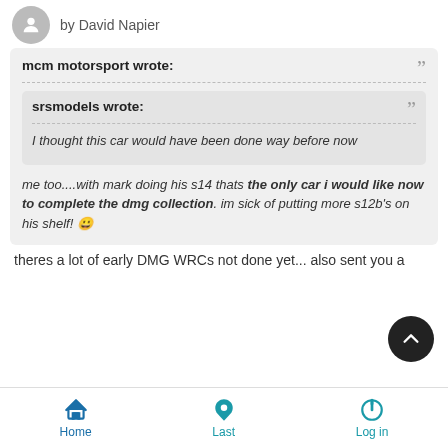by David Napier
mcm motorsport wrote:
srsmodels wrote:
I thought this car would have been done way before now
me too....with mark doing his s14 thats the only car i would like now to complete the dmg collection. im sick of putting more s12b's on his shelf! 😀
theres a lot of early DMG WRCs not done yet... also sent you a
Home  Last  Log in